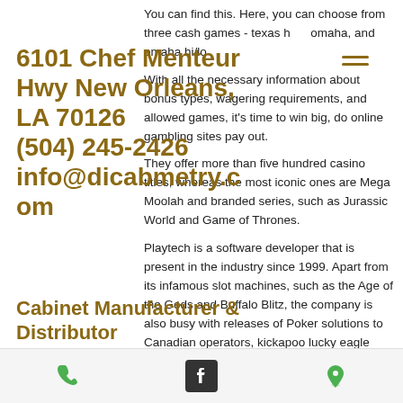You can find this. Here, you can choose from three cash games - texas h omaha, and omaha hi/lo

With all the necessary information about bonus types, wagering requirements, and allowed games, it's time to win big, do online gambling sites pay out.

They offer more than five hundred casino titles, whereas the most iconic ones are Mega Moolah and branded series, such as Jurassic World and Game of Thrones.

Playtech is a software developer that is present in the industry since 1999. Apart from its infamous slot machines, such as the Age of the Gods and Buffalo Blitz, the company is also busy with releases of Poker solutions to Canadian operators, kickapoo lucky eagle casino kenny rogers.

In fact, the payout percentages of slots can
6101 Chef Menteur Hwy New Orleans, LA 70126
(504) 245-2426
info@dicabmetry.com
Cabinet Manufacturer & Distributor
[Figure (other): Bottom navigation bar with phone icon (green), Facebook icon (dark), and map pin icon (green)]